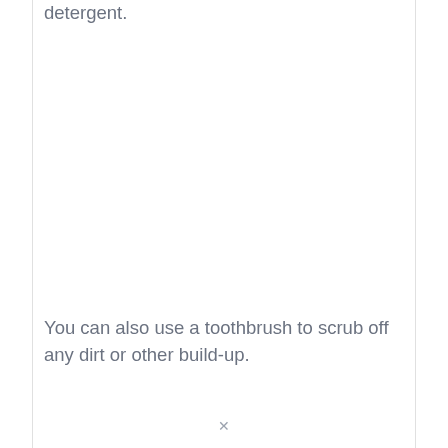detergent.
You can also use a toothbrush to scrub off any dirt or other build-up.